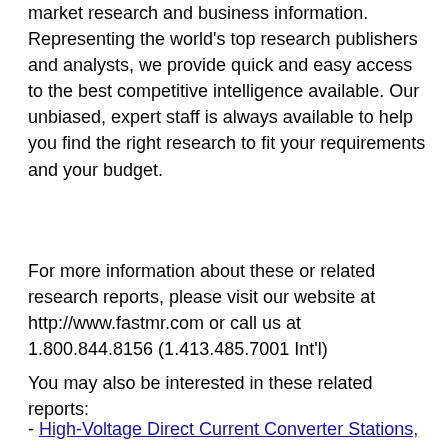market research and business information. Representing the world's top research publishers and analysts, we provide quick and easy access to the best competitive intelligence available. Our unbiased, expert staff is always available to help you find the right research to fit your requirements and your budget.
For more information about these or related research reports, please visit our website at http://www.fastmr.com or call us at 1.800.844.8156 (1.413.485.7001 Int'l)
You may also be interested in these related reports:
- High-Voltage Direct Current Converter Stations,